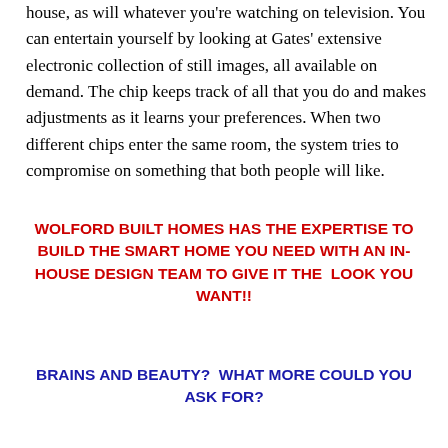house, as will whatever you're watching on television. You can entertain yourself by looking at Gates' extensive electronic collection of still images, all available on demand. The chip keeps track of all that you do and makes adjustments as it learns your preferences. When two different chips enter the same room, the system tries to compromise on something that both people will like.
WOLFORD BUILT HOMES HAS THE EXPERTISE TO BUILD THE SMART HOME YOU NEED WITH AN IN-HOUSE DESIGN TEAM TO GIVE IT THE  LOOK YOU WANT!!
BRAINS AND BEAUTY?  WHAT MORE COULD YOU ASK FOR?